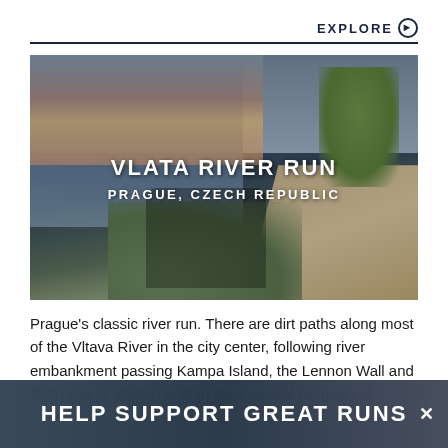EXPLORE ⊙
[Figure (photo): Two people standing on a path along the Vltava River in Prague, with city buildings and Charles Bridge tower visible across the river. Text overlay reads 'VLATA RIVER RUN' and 'PRAGUE, CZECH REPUBLIC'.]
Prague's classic river run. There are dirt paths along most of the Vltava River in the city center, following river embankment passing Kampa Island, the Lennon Wall and Zofin Island. Option to start from central Prague Vid...
HELP SUPPORT GREAT RUNS